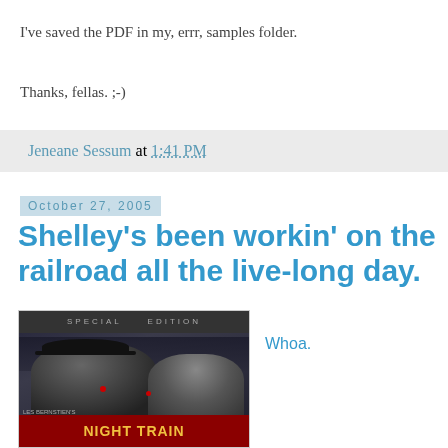I've saved the PDF in my, errr, samples folder.
Thanks, fellas. ;-)
Jeneane Sessum at 1:41 PM
October 27, 2005
Shelley's been workin' on the railroad all the live-long day.
[Figure (photo): Movie poster for 'Night Train' Special Edition, showing noir-style figures with a man in a hat and a woman, with red title text at the bottom reading 'NIGHT TRAIN' and small text 'LES BERNSTIEN'S']
Whoa.